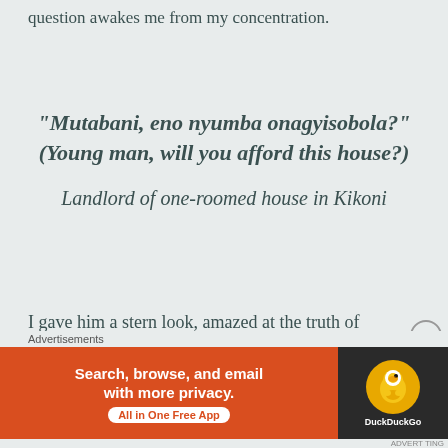question awakes me from my concentration.
“Mutabani, eno nyumba onagyisobola?” (Young man, will you afford this house?)
Landlord of one-roomed house in Kikoni
I gave him a stern look, amazed at the truth of
[Figure (other): DuckDuckGo advertisement banner: orange background with text 'Search, browse, and email with more privacy. All in One Free App' and DuckDuckGo logo on dark background]
Advertisements